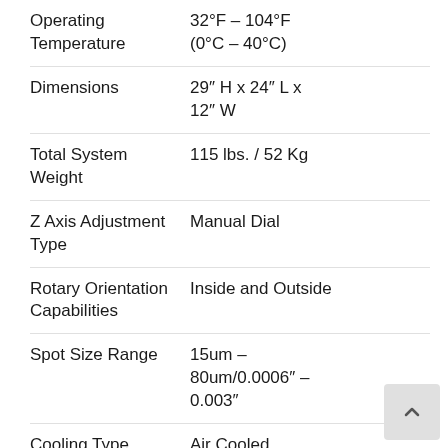| Specification | Value |
| --- | --- |
| Operating Temperature | 32°F – 104°F (0°C – 40°C) |
| Dimensions | 29" H x 24" L x 12" W |
| Total System Weight | 115 lbs. / 52 Kg |
| Z Axis Adjustment Type | Manual Dial |
| Rotary Orientation Capabilities | Inside and Outside |
| Spot Size Range | 15um – 80um/0.0006" – 0.003" |
| Cooling Type | Air Cooled (Internal) |